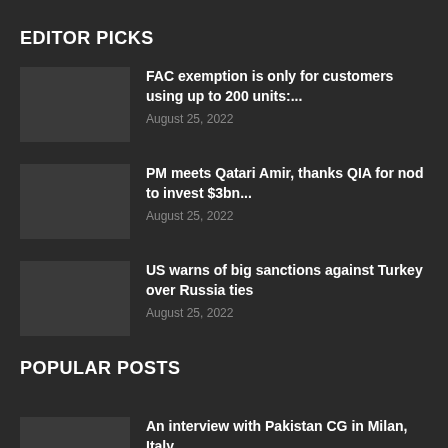EDITOR PICKS
FAC exemption is only for customers using up to 200 units:...
August 25, 2022
PM meets Qatari Amir, thanks QIA for nod to invest $3bn...
August 25, 2022
US warns of big sanctions against Turkey over Russia ties
August 25, 2022
POPULAR POSTS
An interview with Pakistan CG in Milan, Italy